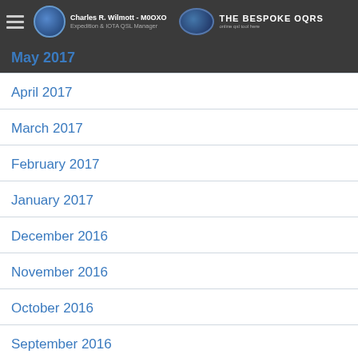Charles R. Wilmott - M0OXO | Expedition & IOTA QSL Manager | THE BESPOKE OQRS
May 2017
April 2017
March 2017
February 2017
January 2017
December 2016
November 2016
October 2016
September 2016